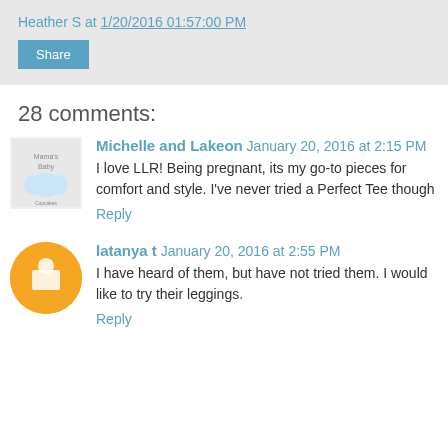Heather S at 1/20/2016 01:57:00 PM
Share
28 comments:
Michelle and Lakeon  January 20, 2016 at 2:15 PM
I love LLR! Being pregnant, its my go-to pieces for comfort and style. I've never tried a Perfect Tee though
Reply
latanya t  January 20, 2016 at 2:55 PM
I have heard of them, but have not tried them. I would like to try their leggings.
Reply